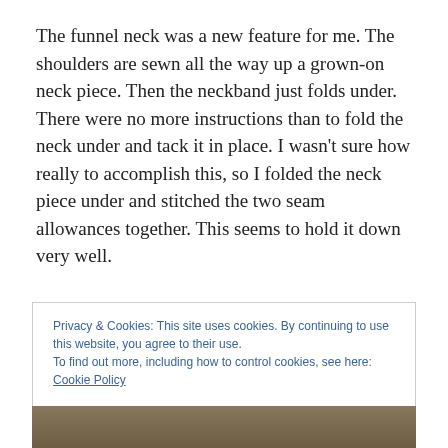The funnel neck was a new feature for me. The shoulders are sewn all the way up a grown-on neck piece. Then the neckband just folds under. There were no more instructions than to fold the neck under and tack it in place. I wasn't sure how really to accomplish this, so I folded the neck piece under and stitched the two seam allowances together. This seems to hold it down very well.
Privacy & Cookies: This site uses cookies. By continuing to use this website, you agree to their use.
To find out more, including how to control cookies, see here: Cookie Policy
[Figure (photo): Bottom strip of a photograph showing outdoor greenery and a person, partially visible.]